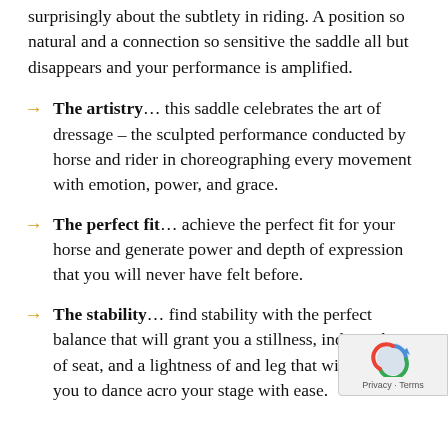surprisingly about the subtlety in riding. A position so natural and a connection so sensitive the saddle all but disappears and your performance is amplified.
The artistry... this saddle celebrates the art of dressage – the sculpted performance conducted by horse and rider in choreographing every movement with emotion, power, and grace.
The perfect fit... achieve the perfect fit for your horse and generate power and depth of expression that you will never have felt before.
The stability... find stability with the perfect balance that will grant you a stillness, independence of seat, and a lightness of and leg that will allow you to dance acro your stage with ease.